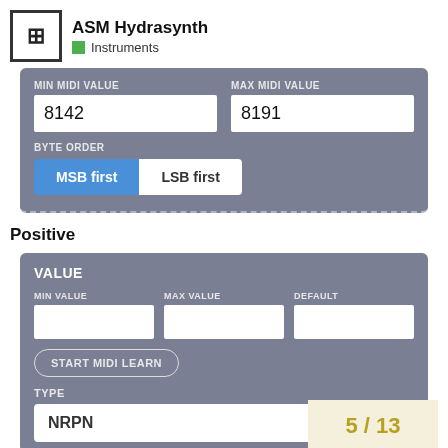ASM Hydrasynth
Instruments
MIN MIDI VALUE / MAX MIDI VALUE
8142 / 8191
BYTE ORDER
MSB first  LSB first
Positive
VALUE
MIN VALUE  MAX VALUE  DEFAULT
START MIDI LEARN
TYPE
NRPN
5 / 13